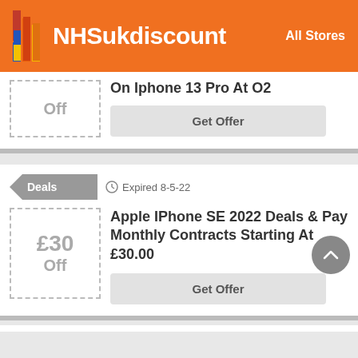[Figure (logo): NHSukdiscount logo with colorful vertical bars icon and white text on orange background]
All Stores
Off
On Iphone 13 Pro At O2
Get Offer
Deals
Expired 8-5-22
£30 Off
Apple IPhone SE 2022 Deals & Pay Monthly Contracts Starting At £30.00
Get Offer